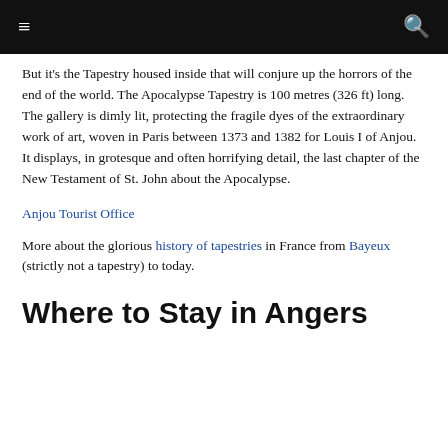≡  🔍
But it's the Tapestry housed inside that will conjure up the horrors of the end of the world. The Apocalypse Tapestry is 100 metres (326 ft) long. The gallery is dimly lit, protecting the fragile dyes of the extraordinary work of art, woven in Paris between 1373 and 1382 for Louis I of Anjou. It displays, in grotesque and often horrifying detail, the last chapter of the New Testament of St. John about the Apocalypse.
Anjou Tourist Office
More about the glorious history of tapestries in France from Bayeux (strictly not a tapestry) to today.
Where to Stay in Angers